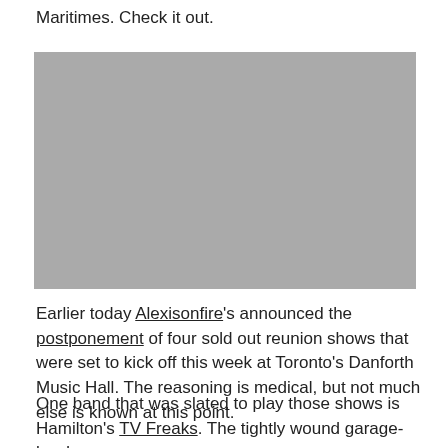Maritimes. Check it out.
[Figure (photo): Grey placeholder image, likely a photo related to Alexisonfire or TV Freaks]
Earlier today Alexisonfire's announced the postponement of four sold out reunion shows that were set to kick off this week at Toronto's Danforth Music Hall. The reasoning is medical, but not much else is known at this point.
One band that was slated to play those shows is Hamilton's TV Freaks. The tightly wound garage-hardcore